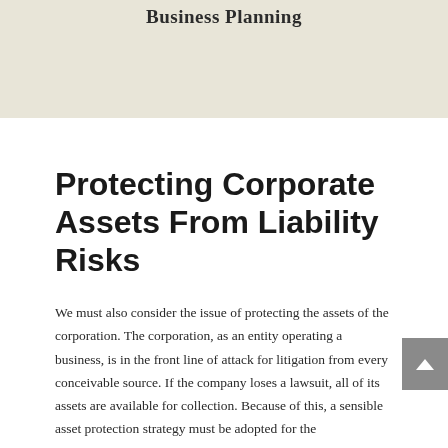Business Planning
Protecting Corporate Assets From Liability Risks
We must also consider the issue of protecting the assets of the corporation. The corporation, as an entity operating a business, is in the front line of attack for litigation from every conceivable source. If the company loses a lawsuit, all of its assets are available for collection. Because of this, a sensible asset protection strategy must be adopted for the